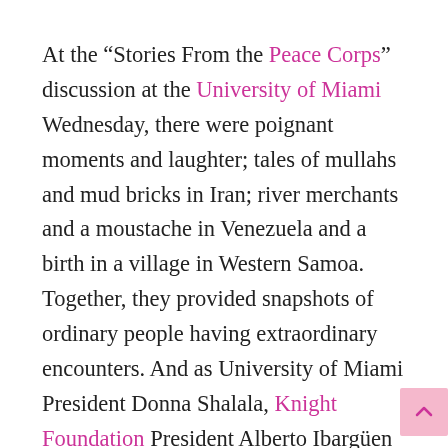At the “Stories From the Peace Corps” discussion at the University of Miami Wednesday, there were poignant moments and laughter; tales of mullahs and mud bricks in Iran; river merchants and a moustache in Venezuela and a birth in a village in Western Samoa. Together, they provided snapshots of ordinary people having extraordinary encounters. And as University of Miami President Donna Shalala, Knight Foundation President Alberto Ibarguën and Peace Corps Director Carrie Hessler-Radelet, all returned Peace Corps volunteers, told their stories,